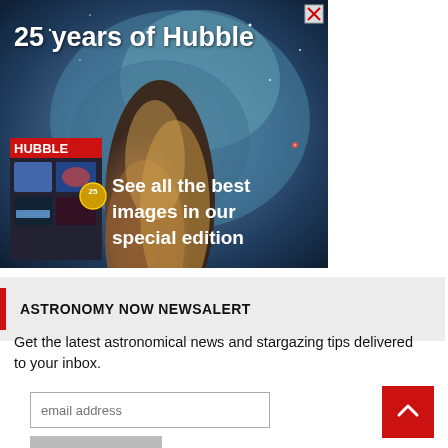[Figure (illustration): Advertisement banner for '25 years of Hubble' special edition magazine. Features a nebula/space background image with text '25 years of Hubble', a Hubble book cover on the lower left, and tagline 'See all the best images in our special edition'. Close button (X) in top right corner.]
ASTRONOMY NOW NEWSALERT
Get the latest astronomical news and stargazing tips delivered to your inbox.
email address